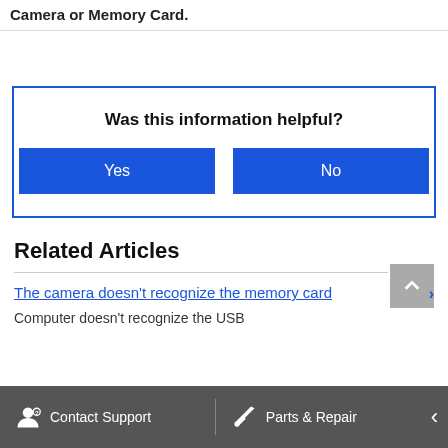Camera or Memory Card.
Was this information helpful?
[Figure (screenshot): Feedback box with 'Was this information helpful?' and Yes/No blue buttons]
Related Articles
The camera doesn't recognize the memory card
Computer doesn't recognize the USB
Contact Support   Parts & Repair